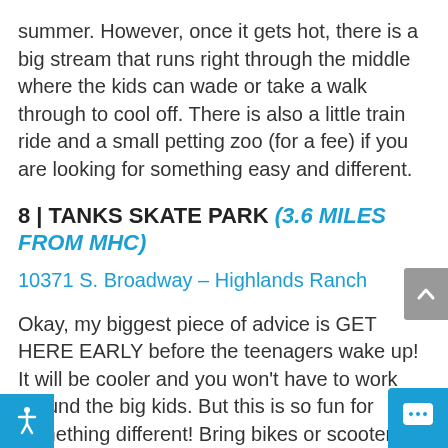summer. However, once it gets hot, there is a big stream that runs right through the middle where the kids can wade or take a walk through to cool off. There is also a little train ride and a small petting zoo (for a fee) if you are looking for something easy and different.
8 | TANKS SKATE PARK (3.6 MILES FROM MHC)
10371 S. Broadway – Highlands Ranch
Okay, my biggest piece of advice is GET HERE EARLY before the teenagers wake up! It will be cooler and you won't have to work around the big kids. But this is so fun for something different! Bring bikes or scooters, and there are plenty of flat open places to ride and enough little ramps